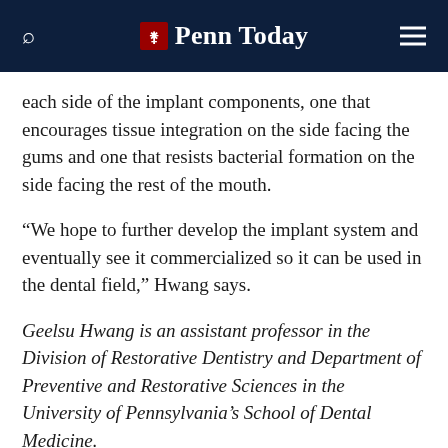Penn Today
each side of the implant components, one that encourages tissue integration on the side facing the gums and one that resists bacterial formation on the side facing the rest of the mouth.
“We hope to further develop the implant system and eventually see it commercialized so it can be used in the dental field,” Hwang says.
Geelsu Hwang is an assistant professor in the Division of Restorative Dentistry and Department of Preventive and Restorative Sciences in the University of Pennsylvania’s School of Dental Medicine.
Hwang’s coauthors on the paper were Penn Dental